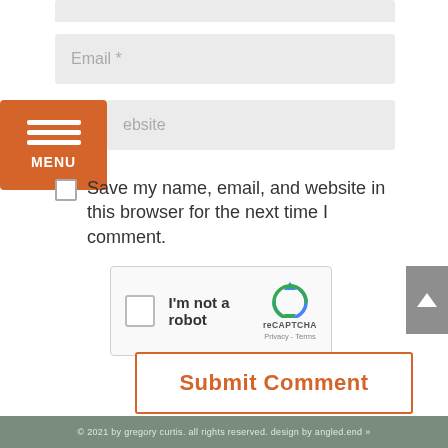[Figure (screenshot): Partial input field at top (cropped)]
[Figure (screenshot): Email input field with placeholder text 'Email *']
[Figure (screenshot): Orange hamburger menu button labeled MENU]
[Figure (screenshot): Website input field with placeholder text 'ebsite']
Save my name, email, and website in this browser for the next time I comment.
[Figure (screenshot): reCAPTCHA widget with checkbox and 'I'm not a robot' label, reCAPTCHA logo, Privacy - Terms links]
[Figure (screenshot): Submit Comment button with orange border]
© 2021 by gregory curtis. all rights reserved. design by angled.end »